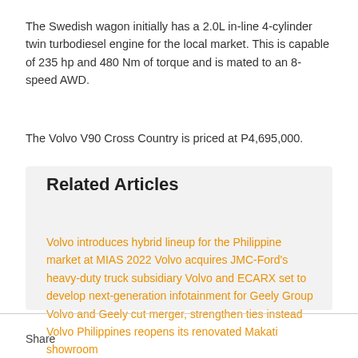The Swedish wagon initially has a 2.0L in-line 4-cylinder twin turbodiesel engine for the local market. This is capable of 235 hp and 480 Nm of torque and is mated to an 8-speed AWD.
The Volvo V90 Cross Country is priced at P4,695,000.
Related Articles
Volvo introduces hybrid lineup for the Philippine market at MIAS 2022 Volvo acquires JMC-Ford's heavy-duty truck subsidiary Volvo and ECARX set to develop next-generation infotainment for Geely Group Volvo and Geely cut merger, strengthen ties instead Volvo Philippines reopens its renovated Makati showroom
Share